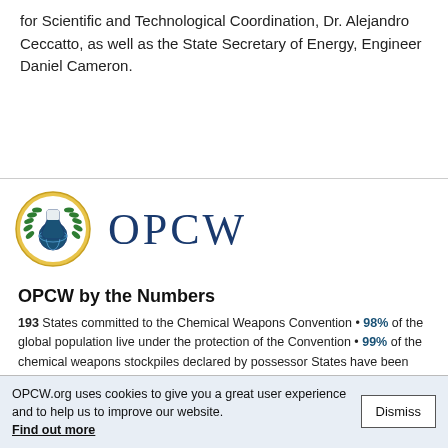for Scientific and Technological Coordination, Dr. Alejandro Ceccatto, as well as the State Secretary of Energy, Engineer Daniel Cameron.
[Figure (logo): OPCW logo: circular emblem with globe, laurel branches, and a chemical flask icon, gold and blue colors, next to the text 'OPCW' in large navy blue letters.]
OPCW by the Numbers
193 States committed to the Chemical Weapons Convention • 98% of the global population live under the protection of the Convention • 99% of the chemical weapons stockpiles declared by possessor States have been verifiably destroyed • More Numbers »
OPCW.org uses cookies to give you a great user experience and to help us to improve our website. Find out more